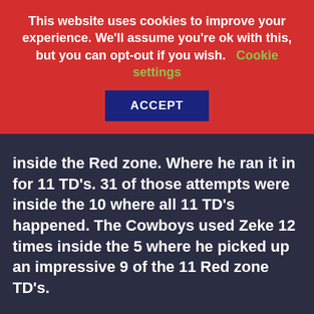This website uses cookies to improve your experience. We'll assume you're ok with this, but you can opt-out if you wish. Cookie settings ACCEPT
inside the Red zone. Where he ran it in for 11 TD's. 31 of those attempts were inside the 10 where all 11 TD's happened. The Cowboys used Zeke 12 times inside the 5 where he picked up an impressive 9 of the 11 Red zone TD's.
The Cowboys have a new HC for 2020 but have managed to keep hold of their OC. Good news if you like Zeke inside the Redzone. McCarthy's last season at the Packers saw him use RB's 44 times in the Redzone. They had a split backfield that year as Jones handled 22 of those and Williams was given 17 of them. Taking that into account, the fact they kept the OC around and Zeke is the RB in Dallas, it's fair to say Zeke looks set to grace the Red zone top 20 again in 2020.